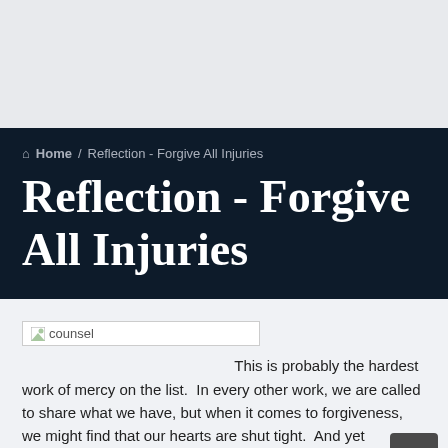Home / Reflection - Forgive All Injuries
Reflection - Forgive All Injuries
[Figure (photo): counsel image placeholder]
This is probably the hardest work of mercy on the list.  In every other work, we are called to share what we have, but when it comes to forgiveness, we might find that our hearts are shut tight.  And yet forgiveness is